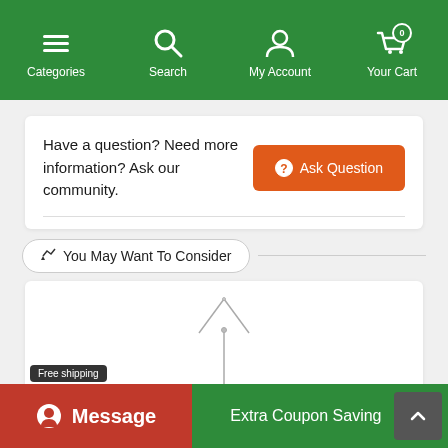Categories | Search | My Account | Your Cart (0)
Have a question? Need more information? Ask our community.
Ask Question
You May Want To Consider
[Figure (photo): A silver Y-shaped necklace on a white background]
Free shipping
Message
Extra Coupon Saving +